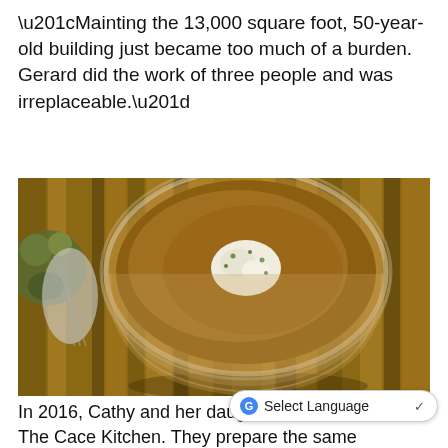“Mainting the 13,000 square foot, 50-year-old building just became too much of a burden. Gerard did the work of three people and was irreplaceable.”
[Figure (photo): A clear plastic container of brown soup with a white cream or cheese dollop on top, garnished with herbs, sitting on a striped wooden cutting board. Background shows blurred food items and a basket.]
In 2016, Cathy and her daughter, Chelsea, opened The Cace Kitchen. They prepare the same